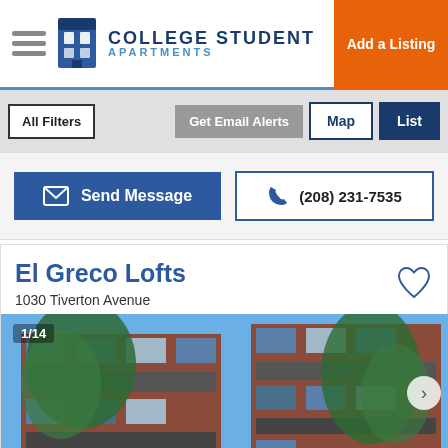College Student Apartments — Add a Listing
All Filters | Get Email Alerts | Map | List
Send Message | (208) 231-7535
El Greco Lofts
1030 Tiverton Avenue
[Figure (photo): Exterior photo of El Greco Lofts apartment building, showing multi-story brick and glass facade with trees. Counter shows 1/14.]